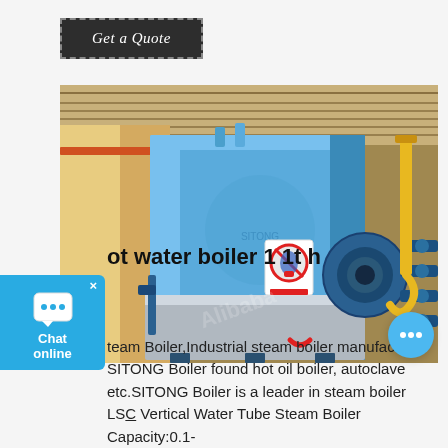Get a Quote
[Figure (photo): Large blue industrial steam/hot water boiler installed inside a factory warehouse. The boiler is cylindrical and painted blue, with a burner assembly on the right side. Yellow lifting equipment visible in background. A red prohibition sign is visible on the boiler surface.]
ot water boiler 1 1t h
team Boiler,Industrial steam boiler manufacturer SITONG Boiler found hot oil boiler, autoclave etc.SITONG Boiler is a leader in steam boiler LSC Vertical Water Tube Steam Boiler Capacity:0.1-